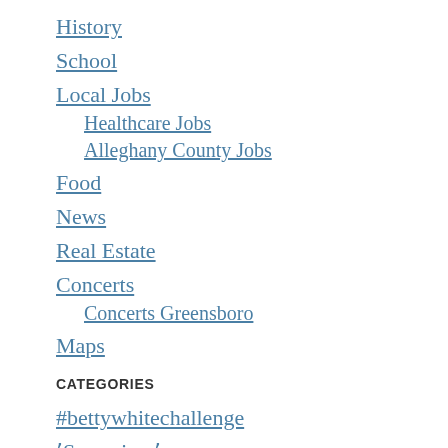History
School
Local Jobs
Healthcare Jobs
Alleghany County Jobs
Food
News
Real Estate
Concerts
Concerts Greensboro
Maps
CATEGORIES
#bettywhitechallenge
ʼSpace jamʼ